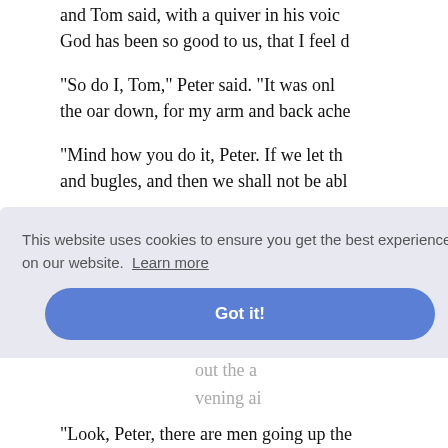and Tom said, with a quiver in his voice, God has been so good to us, that I feel d
"So do I, Tom," Peter said. "It was onl the oar down, for my arm and back ache
"Mind how you do it, Peter. If we let th and bugles, and then we shall not be abl
"Oh, Tom, the bugles!"
"What, Peter?" Tom said, astonished.
, don't yo at a fool l out the a vening ai
"Look, Peter, there are men going up the